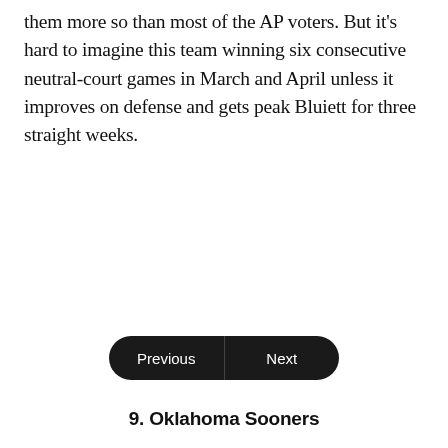them more so than most of the AP voters. But it's hard to imagine this team winning six consecutive neutral-court games in March and April unless it improves on defense and gets peak Bluiett for three straight weeks.
Previous
Next
9. Oklahoma Sooners